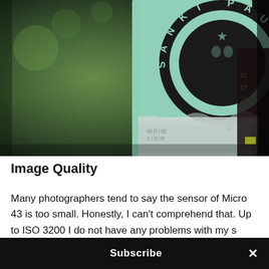[Figure (photo): Close-up photograph of a sticker/poster on a pole showing a Che Guevara-style silhouette in black on teal/green background, with text 'SANKT PAULI' around the circular design. Background is blurred green and dark bokeh.]
Image Quality
Many photographers tend to say the sensor of Micro 43 is too small. Honestly, I can't comprehend that. Up to ISO 3200 I do not have any problems with my s…
Subscribe ×